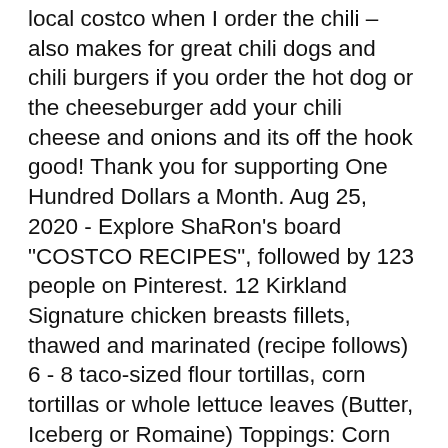local costco when I order the chili – also makes for great chili dogs and chili burgers if you order the hot dog or the cheeseburger add your chili cheese and onions and its off the hook good! Thank you for supporting One Hundred Dollars a Month. Aug 25, 2020 - Explore ShaRon's board "COSTCO RECIPES", followed by 123 people on Pinterest. 12 Kirkland Signature chicken breasts fillets, thawed and marinated (recipe follows) 6 - 8 taco-sized flour tortillas, corn tortillas or whole lettuce leaves (Butter, Iceberg or Romaine) Toppings: Corn salsa (recipe follows), sliced avocados, fresh cilantro leaves, sour cream, Kirkland Signature shredded Tex-mex cheese Ingredients. The chili itself however is great; but buy it from Costco. They wanted people to try out this new item because they claimed their beef brisket wasn't selling well and wanted to see what would be better. Shop by departments, or search for specific item(s). I'm actually one of them. Leave a Comment. Hormel Vegetarian Chili. Not sure how many stores are offering it (or kept it on their menu,